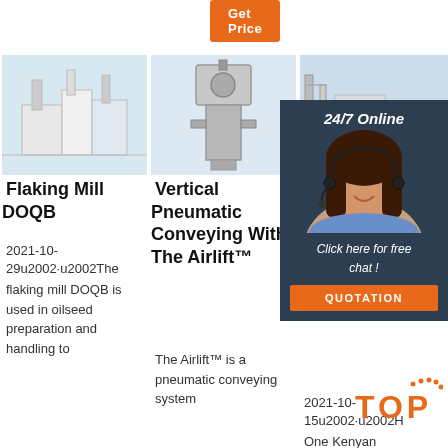Get Price
[Figure (photo): Industrial oil processing plant exterior with white structure and equipment]
[Figure (photo): Vertical pneumatic conveying machine with control panel]
[Figure (photo): Industrial facility exterior with scaffolding and structures]
Flaking Mill DOQB
Vertical Pneumatic Conveying With The Airlift™
H K F B Success Through
2021-10-29u2002·u2002The flaking mill DOQB is used in oilseed preparation and handling to
The Airlift™ is a pneumatic conveying system
2021-10-15u2002·u2002H One Kenyan
[Figure (photo): 24/7 Online chat support agent — woman with headset smiling, with overlay panel showing 24/7 Online, Click here for free chat!, QUOTATION button]